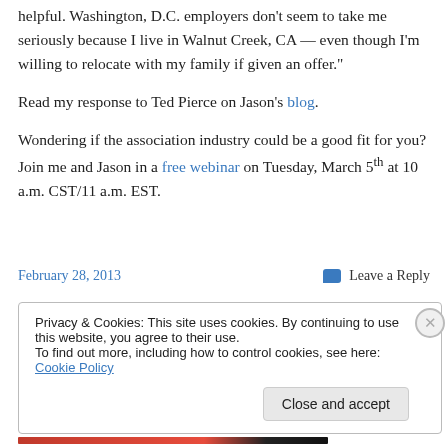helpful. Washington, D.C. employers don’t seem to take me seriously because I live in Walnut Creek, CA — even though I’m willing to relocate with my family if given an offer.”
Read my response to Ted Pierce on Jason’s blog.
Wondering if the association industry could be a good fit for you? Join me and Jason in a free webinar on Tuesday, March 5th at 10 a.m. CST/11 a.m. EST.
February 28, 2013     Leave a Reply
Privacy & Cookies: This site uses cookies. By continuing to use this website, you agree to their use.
To find out more, including how to control cookies, see here: Cookie Policy
[Close and accept]